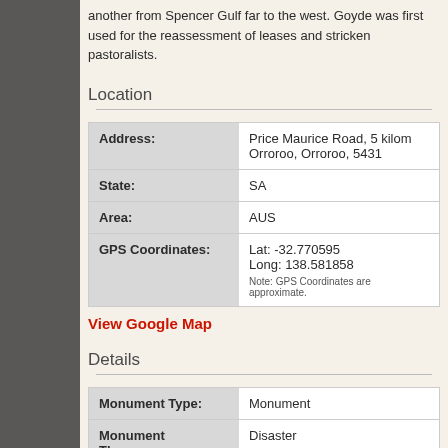another from Spencer Gulf far to the west. Goyde was first used for the reassessment of leases and stricken pastoralists.
Location
| Field | Value |
| --- | --- |
| Address: | Price Maurice Road, 5 kilom Orroroo, Orroroo, 5431 |
| State: | SA |
| Area: | AUS |
| GPS Coordinates: | Lat: -32.770595
Long: 138.581858
Note: GPS Coordinates are approximate. |
View Google Map
Details
| Field | Value |
| --- | --- |
| Monument Type: | Monument |
| Monument Theme: | Disaster |
| Sub-Theme: | Drought |
| Approx. Event Start Date: | 1865 |